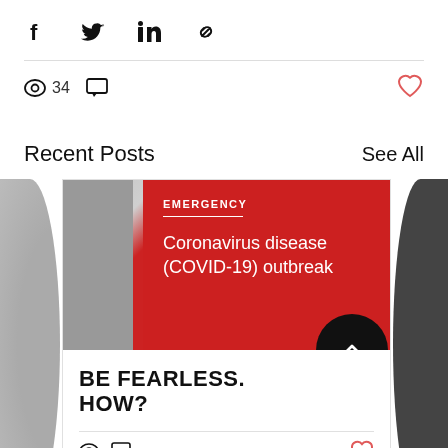[Figure (infographic): Social share icons: Facebook, Twitter, LinkedIn, link/chain]
[Figure (infographic): Stats bar: eye icon with 34 views, comment icon, red heart like button]
Recent Posts
See All
[Figure (photo): Emergency sign with red background and text: EMERGENCY / Coronavirus disease (COVID-19) outbreak]
BE FEARLESS. HOW?